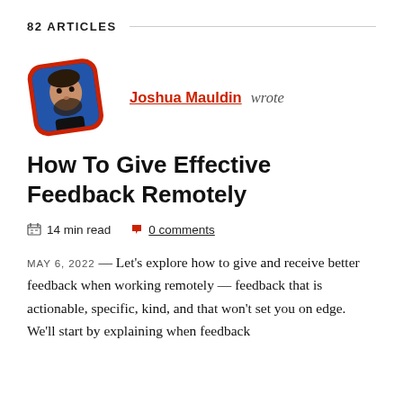82 ARTICLES
[Figure (photo): Author photo of Joshua Mauldin — a man with a beard against a blue background, framed in a rounded square with a red border, slightly rotated.]
Joshua Mauldin wrote
How To Give Effective Feedback Remotely
14 min read   0 comments
MAY 6, 2022 — Let's explore how to give and receive better feedback when working remotely — feedback that is actionable, specific, kind, and that won't set you on edge. We'll start by explaining when feedback